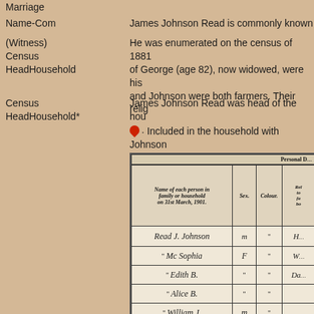Marriage
Name-Com | James Johnson Read is commonly known
(Witness) Census HeadHousehold | He was enumerated on the census of 1881 of George (age 82), now widowed, were his and Johnson were both farmers. Their relig
Census HeadHousehold* | James Johnson Read was head of the hou . Included in the household with Johnson James Turner (age 4). Johnson was a farm
[Figure (table-as-image): Partial scanned census record from 1901 showing handwritten entries. Column headers include 'Name of each person in family or household on 31st March, 1901.', 'Sex.', 'Colour.', 'Rel[ationship] to [head of] fa[mily/] bo[ard]'. Handwritten rows include: Read J. Johnson (M, ..), .. Mc Sophia (F, ..), .. Edith B. (.., .., Do[aughter]), .. Alice B. (.., ..), .. William J. (M, ..), and another partial row.]